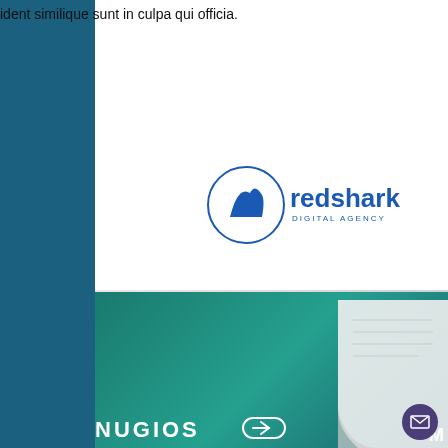ident similique sunt in culpa qui officia.
[Figure (logo): Redshark Digital Agency logo: blue circle with shark fin icon, text 'redshark' and 'DIGITAL AGENCY' in blue]
[Figure (logo): NUGIOS logo in white on teal/green gradient background, with arrow/chevron icon]
[Figure (illustration): Curled paper/document corner illustration on teal background, bottom right area]